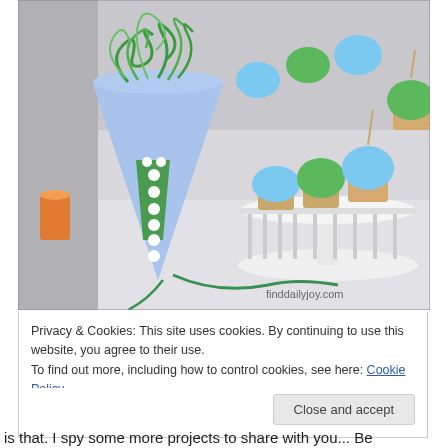[Figure (photo): Photo of a birthday party setup: a blue party hat with green curly ribbon on top and green dots, with cupcakes on a white cake stand in the background. Cupcakes have blue and green frosting with decorative picks. Watermark reads 'finddailyjoy.com'.]
Privacy & Cookies: This site uses cookies. By continuing to use this website, you agree to their use.
To find out more, including how to control cookies, see here: Cookie Policy
Close and accept
is that. I spy some more projects to share with you... Be